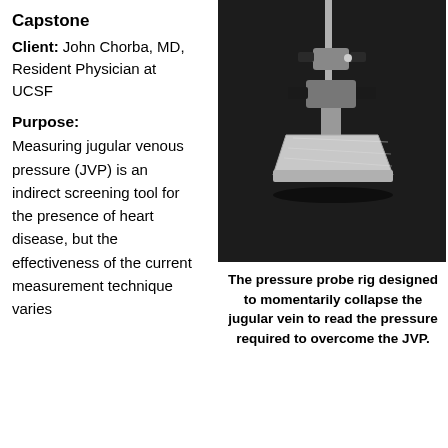Capstone
Client: John Chorba, MD, Resident Physician at UCSF
Purpose:
Measuring jugular venous pressure (JVP) is an indirect screening tool for the presence of heart disease, but the effectiveness of the current measurement technique varies
[Figure (photo): A pressure probe rig mounted on a laboratory stand with adjustable clamps and a flat metallic platform, photographed against a dark background.]
The pressure probe rig designed to momentarily collapse the jugular vein to read the pressure required to overcome the JVP.